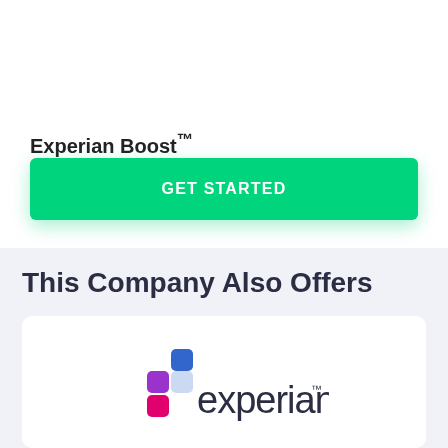Experian Boost™
GET STARTED
This Company Also Offers
[Figure (logo): Experian logo with colorful dots arranged in a grid pattern beside the text 'experian' in dark color with a trademark symbol]